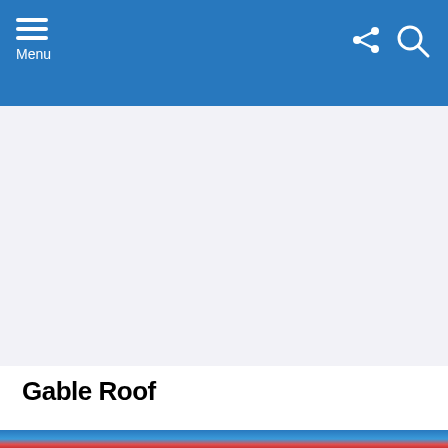Menu
[Figure (other): Advertisement placeholder area with light gray background]
Gable Roof
[Figure (photo): Photo of a gable roof with red/orange shingles against a bright blue sky, partially visible at bottom of page]